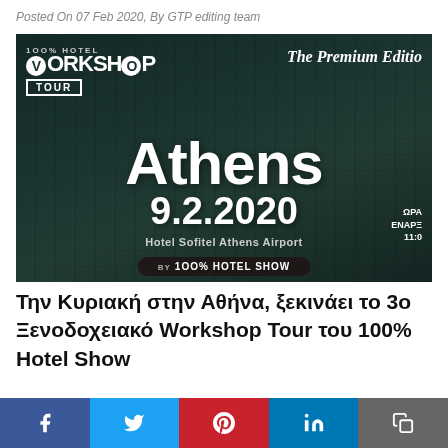Posted On 07 Feb 2020, By GTP editing team
[Figure (photo): 100% Hotel Workshop Tour promotional banner featuring Hotel Sofitel Athens Airport, date 9.2.2020, Athens, with text 'The Premium Edition' and 'by 100% Hotel Show']
Την Κυριακή στην Αθήνα, ξεκινάει το 3ο Ξενοδοχειακό Workshop Tour του 100% Hotel Show